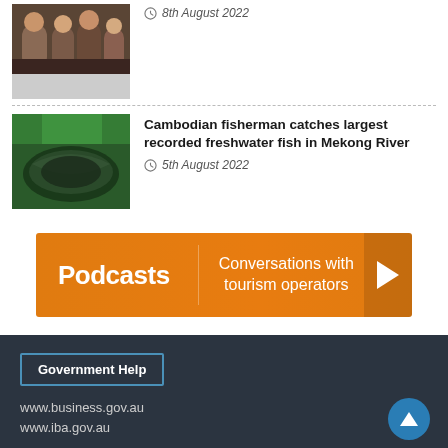[Figure (photo): Group of people at a social gathering, partially visible at top]
8th August 2022
[Figure (photo): Cambodian fisherman with large freshwater fish (stingray) in Mekong River]
Cambodian fisherman catches largest recorded freshwater fish in Mekong River
5th August 2022
[Figure (infographic): Orange podcast banner reading: Podcasts | Conversations with tourism operators, with play arrow button]
Government Help
www.business.gov.au
www.iba.gov.au